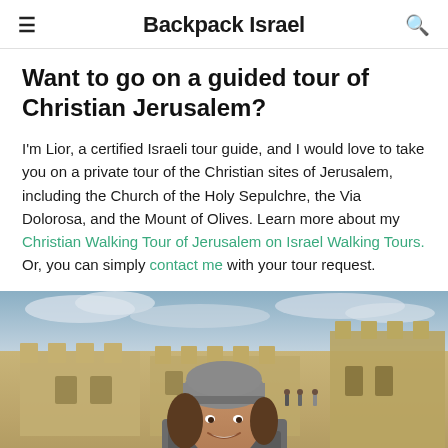Backpack Israel
Want to go on a guided tour of Christian Jerusalem?
I'm Lior, a certified Israeli tour guide, and I would love to take you on a private tour of the Christian sites of Jerusalem, including the Church of the Holy Sepulchre, the Via Dolorosa, and the Mount of Olives. Learn more about my Christian Walking Tour of Jerusalem on Israel Walking Tours. Or, you can simply contact me with your tour request.
[Figure (photo): Photo of a woman (Lior, a tour guide) wearing a grey beanie hat, standing in front of ancient stone walls/battlements of Jerusalem with an overcast sky in the background.]